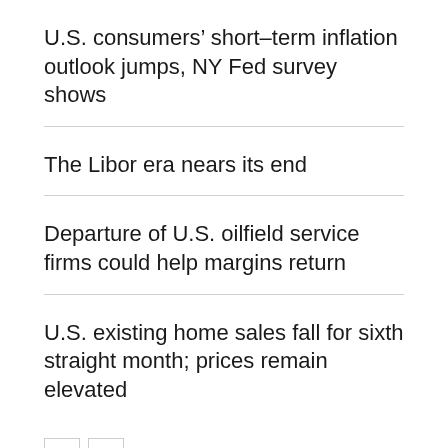U.S. consumers' short–term inflation outlook jumps, NY Fed survey shows
The Libor era nears its end
Departure of U.S. oilfield service firms could help margins return
U.S. existing home sales fall for sixth straight month; prices remain elevated
most popular